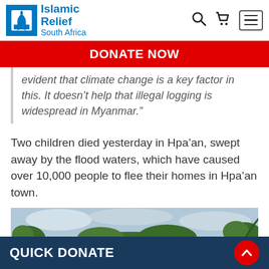Islamic Relief South Africa
DONATE NOW
evident that climate change is a key factor in this. It doesn’t help that illegal logging is widespread in Myanmar.”
Two children died yesterday in Hpa’an, swept away by the flood waters, which have caused over 10,000 people to flee their homes in Hpa’an town.
[Figure (photo): Outdoor scene with green trees and cloudy sky]
QUICK DONATE